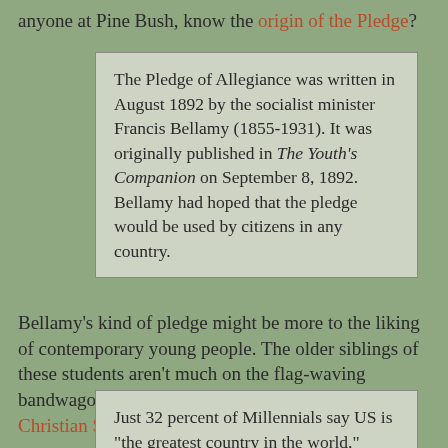anyone at Pine Bush, know the origin of the Pledge?
The Pledge of Allegiance was written in August 1892 by the socialist minister Francis Bellamy (1855-1931). It was originally published in The Youth's Companion on September 8, 1892. Bellamy had hoped that the pledge would be used by citizens in any country.
Bellamy's kind of pledge might be more to the liking of contemporary young people. The older siblings of these students aren't much on the flag-waving bandwagon according to polling assembled by the Christian Science Monitor.
Just 32 percent of Millennials say US is "the greatest country in the world," compared with 48 percent of Gen Xers, 50 percent of Baby Boomers, and 64